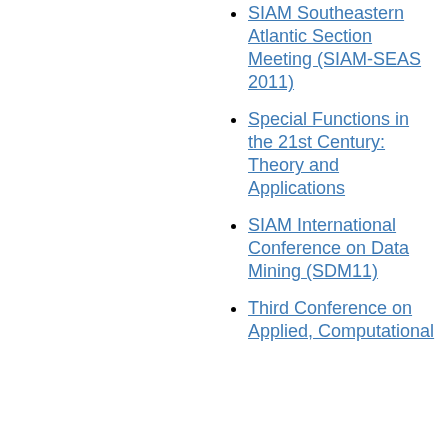SIAM Southeastern Atlantic Section Meeting (SIAM-SEAS 2011)
Special Functions in the 21st Century: Theory and Applications
SIAM International Conference on Data Mining (SDM11)
Third Conference on Applied, Computational